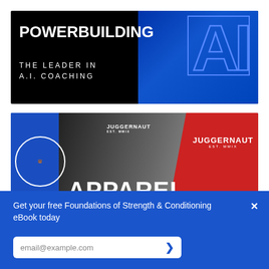[Figure (infographic): Powerbuilding AI coaching banner: black background with large white bold text 'POWERBUILDING' and subtitle 'THE LEADER IN A.I. COACHING'. Right side has blue gradient with large outlined 'AI' letters and a blue outline rectangle, with a faint athlete image in background.]
[Figure (infographic): Juggernaut Apparel banner: left side blue with circular Jiu-Jitsu logo, center black-and-white photo of bearded man in black Juggernaut t-shirt, large white text 'APPAREL', right side red with white Juggernaut text.]
Get your free Foundations of Strength & Conditioning eBook today
email@example.com